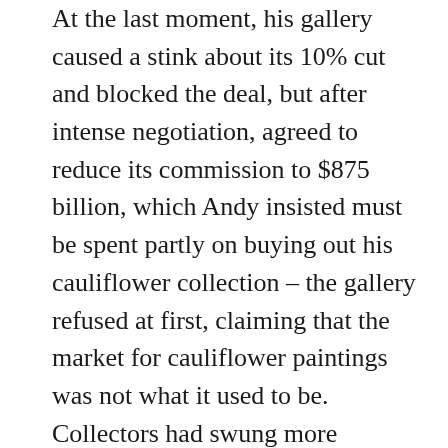At the last moment, his gallery caused a stink about its 10% cut and blocked the deal, but after intense negotiation, agreed to reduce its commission to $875 billion, which Andy insisted must be spent partly on buying out his cauliflower collection – the gallery refused at first, claiming that the market for cauliflower paintings was not what it used to be. Collectors had swung more towards snuff tins, dirty buckets and jars of dried peanut butter. In the end the gallery offered him five hundred bucks for all eighty-six canvases.
Andy nonetheless felt he had not done too bad, considering he'd never even gone to Harvard